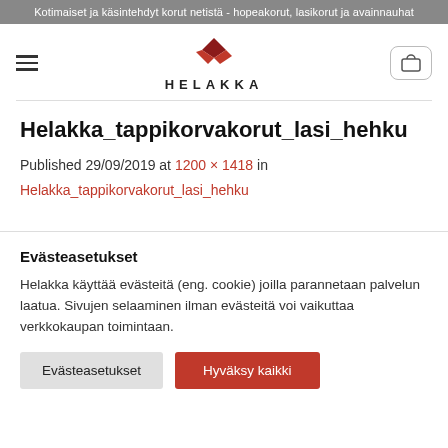Kotimaiset ja käsintehdyt korut netistä - hopeakorut, lasikorut ja avainnauhat
[Figure (logo): Helakka logo with red diamond/chevron symbol above text HELAKKA]
Helakka_tappikorvakorut_lasi_hehku
Published 29/09/2019 at 1200 × 1418 in
Helakka_tappikorvakorut_lasi_hehku
Evästeasetukset
Helakka käyttää evästeitä (eng. cookie) joilla parannetaan palvelun laatua. Sivujen selaaminen ilman evästeitä voi vaikuttaa verkkokaupan toimintaan.